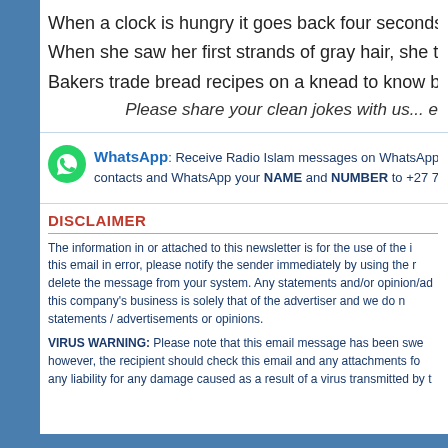When a clock is hungry it goes back four seconds.
When she saw her first strands of gray hair, she tho
Bakers trade bread recipes on a knead to know bas
Please share your clean jokes with us... e
WhatsApp: Receive Radio Islam messages on WhatsApp contacts and WhatsApp your NAME and NUMBER to +27 79 50
DISCLAIMER
The information in or attached to this newsletter is for the use of the i this email in error, please notify the sender immediately by using the r delete the message from your system. Any statements and/or opinion/ad this company's business is solely that of the advertiser and we do n statements / advertisements or opinions.
VIRUS WARNING: Please note that this email message has been swe however, the recipient should check this email and any attachments fo any liability for any damage caused as a result of a virus transmitted by t